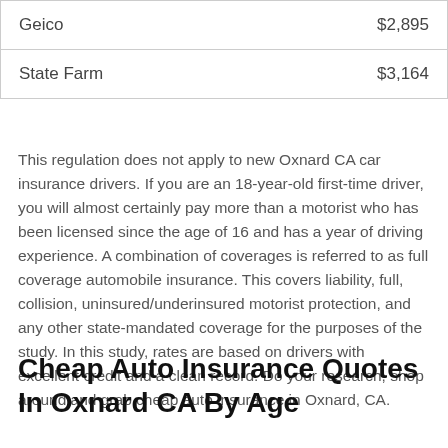| Geico | $2,895 |
| State Farm | $3,164 |
This regulation does not apply to new Oxnard CA car insurance drivers. If you are an 18-year-old first-time driver, you will almost certainly pay more than a motorist who has been licensed since the age of 16 and has a year of driving experience. A combination of coverages is referred to as full coverage automobile insurance. This covers liability, full, collision, uninsured/underinsured motorist protection, and any other state-mandated coverage for the purposes of the study. In this study, rates are based on drivers with excellent credit and a clean record. Do your research, shop around and grab cheap auto insurance in Oxnard, CA.
Cheap Auto Insurance Quotes In Oxnard CA By Age